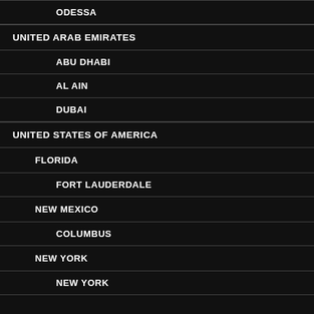ODESSA
UNITED ARAB EMIRATES
ABU DHABI
AL AIN
DUBAI
UNITED STATES OF AMERICA
FLORIDA
FORT LAUDERDALE
NEW MEXICO
COLUMBUS
NEW YORK
NEW YORK